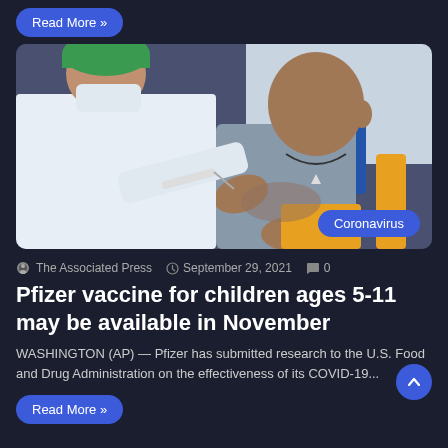Read More »
[Figure (photo): A healthcare worker in white uniform and green cap giving a vaccine injection to a young child sitting in a yellow chair. The child is wearing a grey sleeveless shirt and looking down at their arm.]
Coronavirus
The Associated Press  September 29, 2021  0
Pfizer vaccine for children ages 5-11 may be available in November
WASHINGTON (AP) — Pfizer has submitted research to the U.S. Food and Drug Administration on the effectiveness of its COVID-19...
Read More »